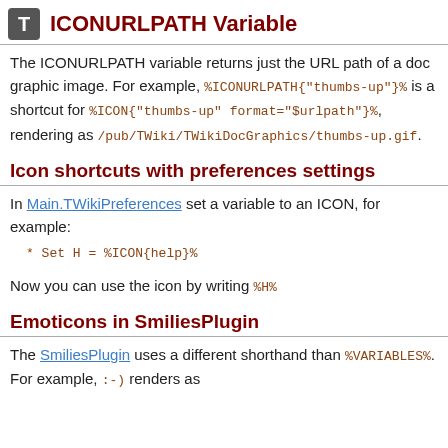ICONURLPATH Variable
The ICONURLPATH variable returns just the URL path of a doc graphic image. For example, %ICONURLPATH{"thumbs-up"}% is a shortcut for %ICON{"thumbs-up" format="$urlpath"}%, rendering as /pub/TWiki/TWikiDocGraphics/thumbs-up.gif.
Icon shortcuts with preferences settings
In Main.TWikiPreferences set a variable to an ICON, for example:
* Set H = %ICON{help}%
Now you can use the icon by writing %H%
Emoticons in SmiliesPlugin
The SmiliesPlugin uses a different shorthand than %VARIABLES%. For example, :-) renders as